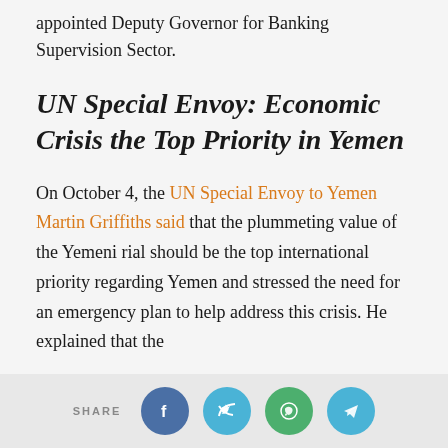appointed Deputy Governor for Banking Supervision Sector.
UN Special Envoy: Economic Crisis the Top Priority in Yemen
On October 4, the UN Special Envoy to Yemen Martin Griffiths said that the plummeting value of the Yemeni rial should be the top international priority regarding Yemen and stressed the need for an emergency plan to help address this crisis. He explained that the
SHARE